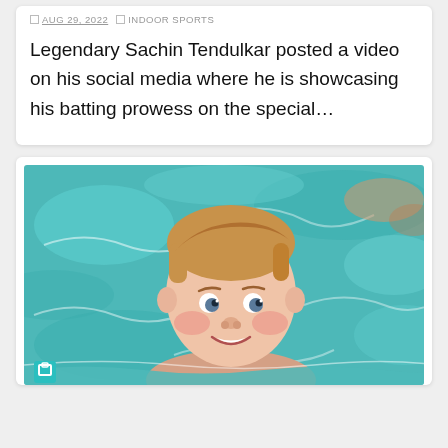AUG 29, 2022 | INDOOR SPORTS
Legendary Sachin Tendulkar posted a video on his social media where he is showcasing his batting prowess on the special…
[Figure (photo): A young blonde boy smiling in a swimming pool, with turquoise water surrounding him. A small teal badge/icon is visible at the bottom left of the image.]